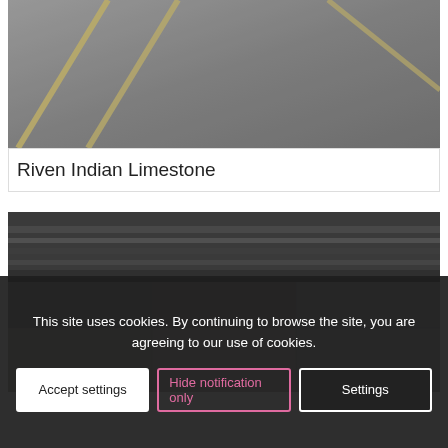[Figure (photo): Aerial/close-up photo of paving showing grey stone surface with yellowish joint lines, likely Riven Indian Limestone paving slabs.]
Riven Indian Limestone
[Figure (photo): Photo of dark grey/multicolored stone paving slabs with a bullnose step edge at the top, showing varied blue, brown, and grey stone colors.]
This site uses cookies. By continuing to browse the site, you are agreeing to our use of cookies.
Accept settings
Hide notification only
Settings